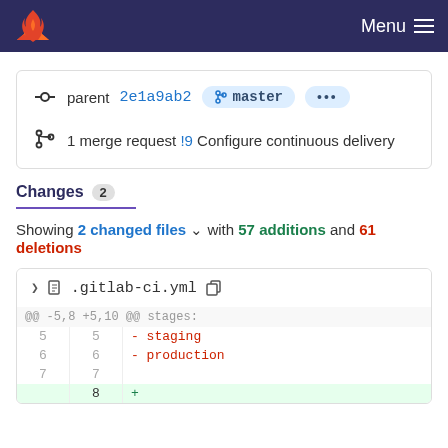GitLab navigation bar with logo and Menu
parent 2e1a9ab2  master  ...
1 merge request !9 Configure continuous delivery
Changes 2
Showing 2 changed files with 57 additions and 61 deletions
.gitlab-ci.yml
| old | new | code |
| --- | --- | --- |
| ... | ... | @@ -5,8 +5,10 @@ stages: |
| 5 | 5 |   - staging |
| 6 | 6 |   - production |
| 7 | 7 |  |
|  | 8 | + |